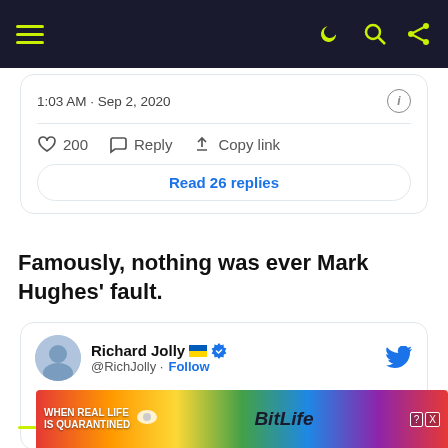Navigation bar with hamburger menu, dark/light mode, search, and share icons
1:03 AM · Sep 2, 2020
200  Reply  Copy link
Read 26 replies
Famously, nothing was ever Mark Hughes' fault.
Richard Jolly 🇺🇦 ✓ @RichJolly · Follow
I thought losing 13 of his last 20 games led to his departure. I stand corrected